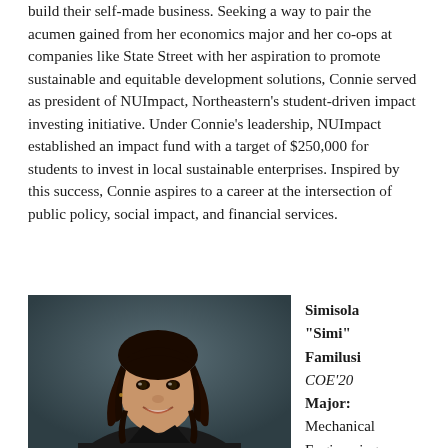build their self-made business. Seeking a way to pair the acumen gained from her economics major and her co-ops at companies like State Street with her aspiration to promote sustainable and equitable development solutions, Connie served as president of NUImpact, Northeastern's student-driven impact investing initiative. Under Connie's leadership, NUImpact established an impact fund with a target of $250,000 for students to invest in local sustainable enterprises. Inspired by this success, Connie aspires to a career at the intersection of public policy, social impact, and financial services.
[Figure (photo): Portrait photo of Simisola 'Simi' Familusi, a young woman with braided hair, smiling, against a dark background, wearing a dark jacket.]
Simisola "Simi" Familusi COE'20 Major: Mechanical Engineering Award